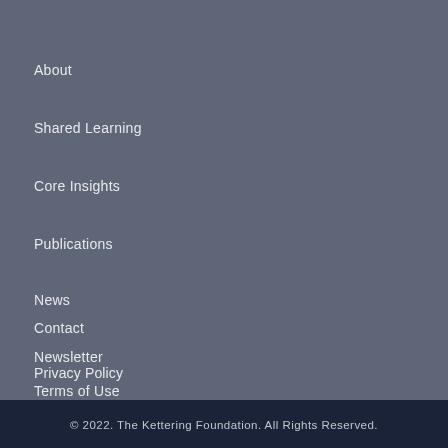About
Shared Learning
Core Insights
Publications
News
Contact
Newsletter
Privacy Policy
Terms of Use
© 2022. The Kettering Foundation. All Rights Reserved.